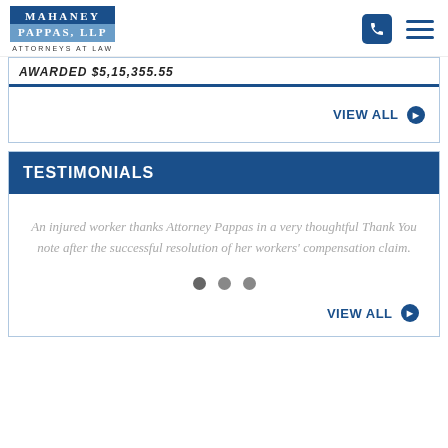Mahaney Pappas, LLP — Attorneys at Law
AWARDED $5,15,355.55
VIEW ALL
TESTIMONIALS
An injured worker thanks Attorney Pappas in a very thoughtful Thank You note after the successful resolution of her workers' compensation claim.
VIEW ALL